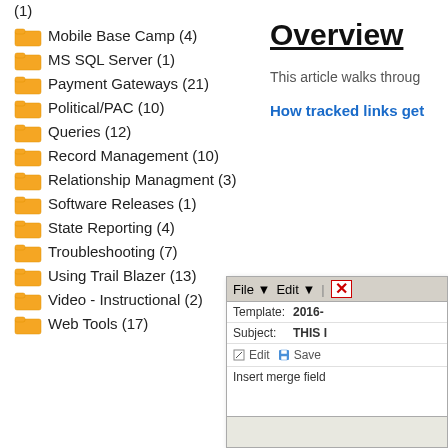(1)
Mobile Base Camp (4)
MS SQL Server (1)
Payment Gateways (21)
Political/PAC (10)
Queries (12)
Record Management (10)
Relationship Managment (3)
Software Releases (1)
State Reporting (4)
Troubleshooting (7)
Using Trail Blazer (13)
Video - Instructional (2)
Web Tools (17)
Overview
This article walks throug
How tracked links get
[Figure (screenshot): Screenshot of an email template editor showing File, Edit menu items, Template field showing '2016-', Subject field showing 'THIS I', Edit and Save buttons, and Insert merge field option]